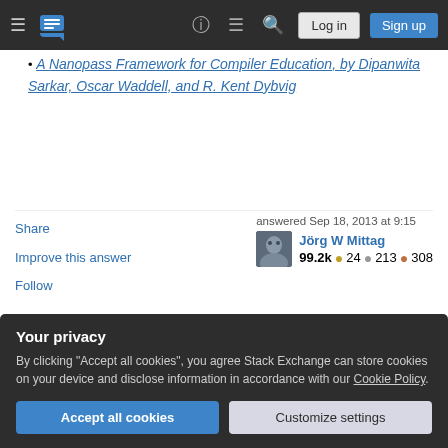Stack Exchange navigation bar with Log in and Sign up buttons
A Nanopass Framework for Compiler Education, by Dipanwita Sarkar, Oscar Waddell, and R. Kent Dybvig
Share  Improve this answer  Follow  answered Sep 18, 2013 at 9:15  Jörg W Mittag  99.2k  24  213  308
Id add compiling with continuations and modern compiler design – Daniel Gratzer Sep 18, 2013 at 23:20
Your privacy
By clicking "Accept all cookies", you agree Stack Exchange can store cookies on your device and disclose information in accordance with our Cookie Policy.
Accept all cookies  Customize settings